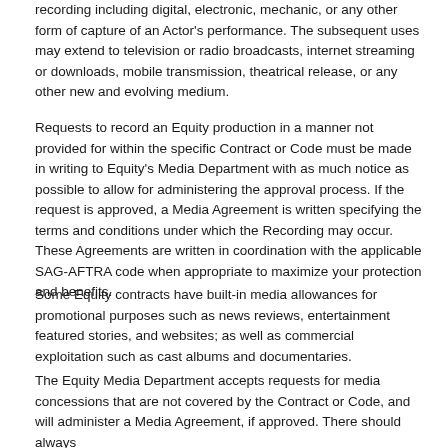recording including digital, electronic, mechanic, or any other form of capture of an Actor's performance. The subsequent uses may extend to television or radio broadcasts, internet streaming or downloads, mobile transmission, theatrical release, or any other new and evolving medium.
Requests to record an Equity production in a manner not provided for within the specific Contract or Code must be made in writing to Equity's Media Department with as much notice as possible to allow for administering the approval process. If the request is approved, a Media Agreement is written specifying the terms and conditions under which the Recording may occur. These Agreements are written in coordination with the applicable SAG-AFTRA code when appropriate to maximize your protection and benefits.
Some Equity contracts have built-in media allowances for promotional purposes such as news reviews, entertainment featured stories, and websites; as well as commercial exploitation such as cast albums and documentaries.
The Equity Media Department accepts requests for media concessions that are not covered by the Contract or Code, and will administer a Media Agreement, if approved. There should always be...